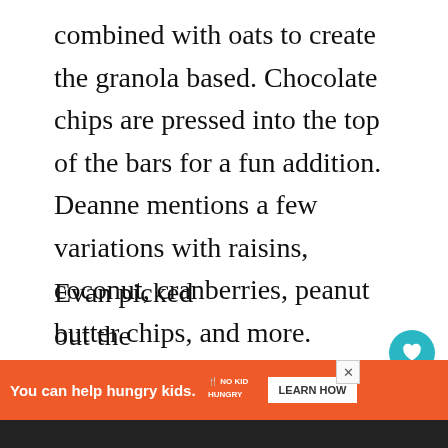combined with oats to create the granola based. Chocolate chips are pressed into the top of the bars for a fun addition. Deanne mentions a few variations with raisins, coconut, cranberries, peanut butter chips, and more.
Evan picked out the Sleepover Party Pancakes first. This recipe is better for older kids with the constant flipping pancakes over heat, but overall everything co...e
[Figure (other): Social widget with heart/like button showing count 34 and a share button]
[Figure (other): What's Next promotional banner showing Cookie Butter Granola with thumbnail image]
[Figure (other): Advertisement banner: orange background, text 'You can help hungry kids.' with No Kid Hungry logo and Learn How button]